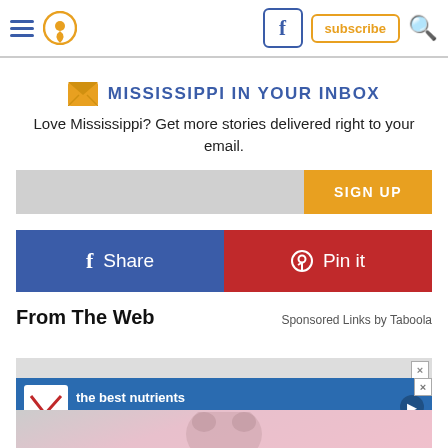Navigation bar with hamburger menu, location icon, Facebook icon, subscribe button, and search icon
MISSISSIPPI IN YOUR INBOX
Love Mississippi? Get more stories delivered right to your email.
SIGN UP
Share
Pin it
From The Web
Sponsored Links by Taboola
[Figure (photo): Advertisement banner for Hill's pet nutrition: 'the best nutrients for their best life' with Hill's logo, and a person's face partially visible in pink background below]